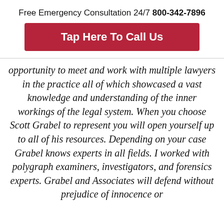Free Emergency Consultation 24/7 800-342-7896
Tap Here To Call Us
opportunity to meet and work with multiple lawyers in the practice all of which showcased a vast knowledge and understanding of the inner workings of the legal system. When you choose Scott Grabel to represent you will open yourself up to all of his resources. Depending on your case Grabel knows experts in all fields. I worked with polygraph examiners, investigators, and forensics experts. Grabel and Associates will defend without prejudice of innocence or